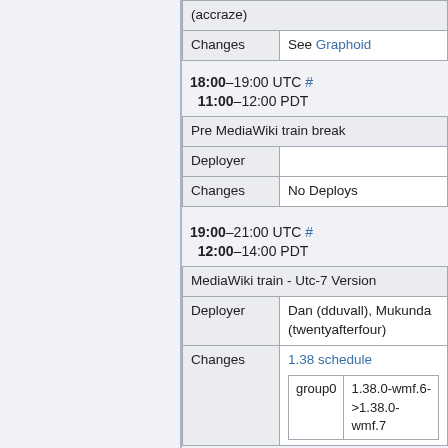| (accraze) |
| Changes | See Graphoid |
18:00–19:00 UTC # 11:00–12:00 PDT
| Pre MediaWiki train break |
| --- |
| Deployer |  |
| Changes | No Deploys |
19:00–21:00 UTC # 12:00–14:00 PDT
| MediaWiki train - Utc-7 Version |
| --- |
| Deployer | Dan (dduvall), Mukunda (twentyafterfour) |
| Changes | 1.38 schedule
group0 | 1.38.0-wmf.6->1.38.0-wmf.7 |